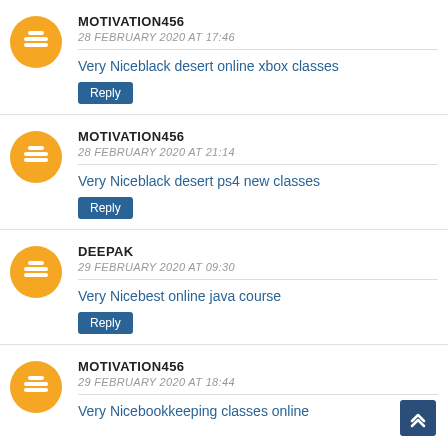MOTIVATION456 — 28 FEBRUARY 2020 AT 17:46 — Very Niceblack desert online xbox classes
MOTIVATION456 — 28 FEBRUARY 2020 AT 21:14 — Very Niceblack desert ps4 new classes
DEEPAK — 29 FEBRUARY 2020 AT 09:30 — Very Nicebest online java course
MOTIVATION456 — 29 FEBRUARY 2020 AT 18:44 — Very Nicebookkeeping classes online